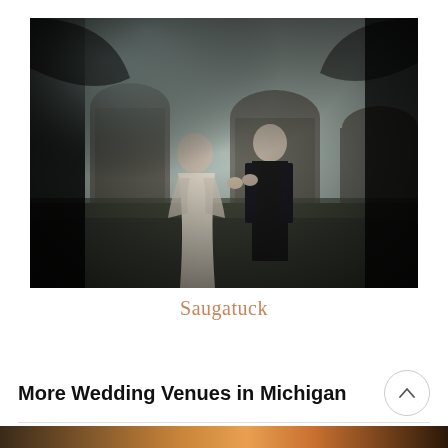[Figure (photo): Black and white photo of a bride and groom holding hands and facing each other outdoors near stone archways with misty/smoky atmosphere. The bride wears a lace dress and the groom wears a dark suit with boutonniere.]
Saugatuck
More Wedding Venues in Michigan